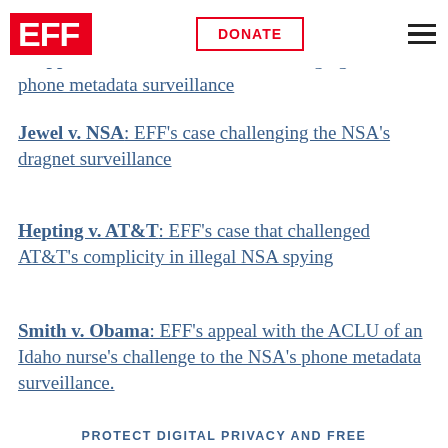EFF | DONATE
Clapper v. NSA — EFF's case challenging the NSA's phone metadata surveillance
Jewel v. NSA: EFF's case challenging the NSA's dragnet surveillance
Hepting v. AT&T: EFF's case that challenged AT&T's complicity in illegal NSA spying
Smith v. Obama: EFF's appeal with the ACLU of an Idaho nurse's challenge to the NSA's phone metadata surveillance.
PROTECT DIGITAL PRIVACY AND FREE